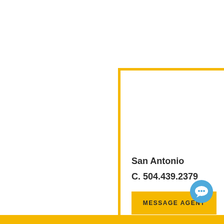[Figure (other): Real estate agent contact card with yellow border. Contains location 'San Antonio', phone number 'C. 504.439.2379', and a yellow 'MESSAGE AGENT' button.]
San Antonio
C. 504.439.2379
MESSAGE AGENT
[Figure (other): Blue circular chat/message icon in bottom right corner.]